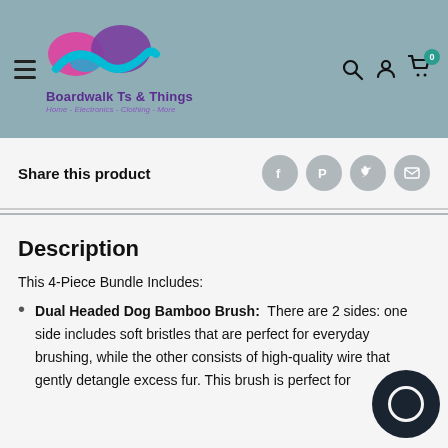[Figure (logo): Boardwalk Ts & Things logo with colorful wave/mustache shape in pink, purple, and teal. Text: 'Boardwalk Ts & Things' in purple, subtitle: 'Home - Electronics - Clothing - More' in italic purple.]
Share this product
Description
This 4-Piece Bundle Includes:
Dual Headed Dog Bamboo Brush: There are 2 sides: one side includes soft bristles that are perfect for everyday brushing, while the other consists of high-quality wire that gently detangle excess fur. This brush is perfect for